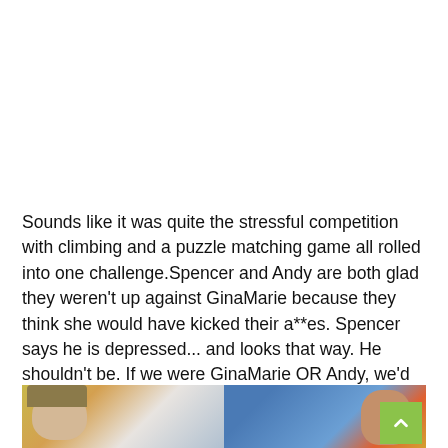Sounds like it was quite the stressful competition with climbing and a puzzle matching game all rolled into one challenge.Spencer and Andy are both glad they weren't up against GinaMarie because they think she would have kicked their a**es. Spencer says he is depressed... and looks that way. He shouldn't be. If we were GinaMarie OR Andy, we'd SO take Spencer to the final two instead of the other option.
[Figure (photo): Two people in a colorful room. On the left, a woman with light hair wearing a cap with a surprised expression. On the right, a bearded man in a blue shirt looking sideways. Colorful geometric shapes in background.]